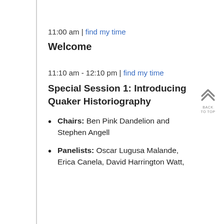11:00 am | find my time
Welcome
11:10 am - 12:10 pm | find my time
Special Session 1: Introducing Quaker Historiography
Chairs: Ben Pink Dandelion and Stephen Angell
Panelists: Oscar Lugusa Malande, Erica Canela, David Harrington Watt,